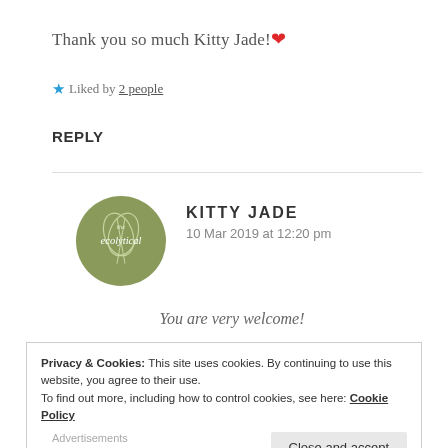Thank you so much Kitty Jade! ❤
★ Liked by 2 people
REPLY
[Figure (logo): Circular olive-green logo for 'The Ecolytical' blog with botanical leaf illustration]
KITTY JADE
10 Mar 2019 at 12:20 pm
You are very welcome!
Privacy & Cookies: This site uses cookies. By continuing to use this website, you agree to their use.
To find out more, including how to control cookies, see here: Cookie Policy
Close and accept
Advertisements